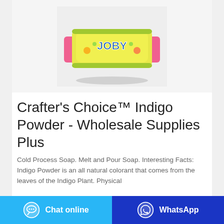[Figure (photo): Photo of a yellow JOBY branded soap bar with pink wrapper ends on a light gray/white background]
Crafter's Choice™ Indigo Powder - Wholesale Supplies Plus
Cold Process Soap. Melt and Pour Soap. Interesting Facts: Indigo Powder is an all natural colorant that comes from the leaves of the Indigo Plant. Physical Prop...
Chat online
WhatsApp